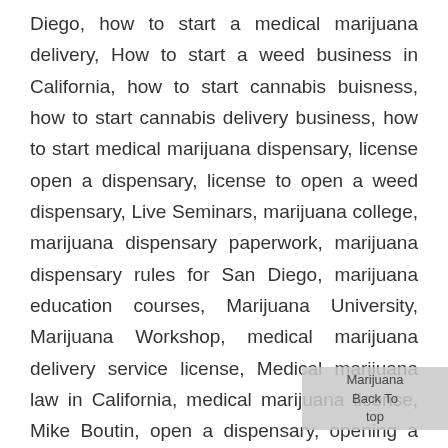Diego, how to start a medical marijuana delivery, How to start a weed business in California, how to start cannabis buisness, how to start cannabis delivery business, how to start medical marijuana dispensary, license open a dispensary, license to open a weed dispensary, Live Seminars, marijuana college, marijuana dispensary paperwork, marijuana dispensary rules for San Diego, marijuana education courses, Marijuana University, Marijuana Workshop, medical marijuana delivery service license, Medical marijuana law in California, medical marijuana license, Mike Boutin, open a dispensary, opening a medical marijuana dispensary, pot school, Pot School, requirements for a marijuana delivery Company, rules to start a dispensary, Rules to Start a Marijuana Delivery Service, San Diego, SoCal, Start a marijuana
Marijuana Back To top